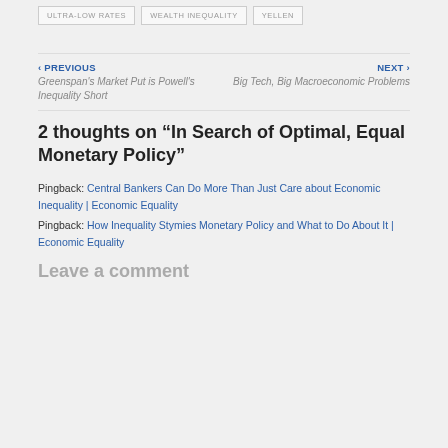ULTRA-LOW RATES
WEALTH INEQUALITY
YELLEN
‹ PREVIOUS
Greenspan's Market Put is Powell's Inequality Short
NEXT ›
Big Tech, Big Macroeconomic Problems
2 thoughts on “In Search of Optimal, Equal Monetary Policy”
Pingback: Central Bankers Can Do More Than Just Care about Economic Inequality | Economic Equality
Pingback: How Inequality Stymies Monetary Policy and What to Do About It | Economic Equality
Leave a comment